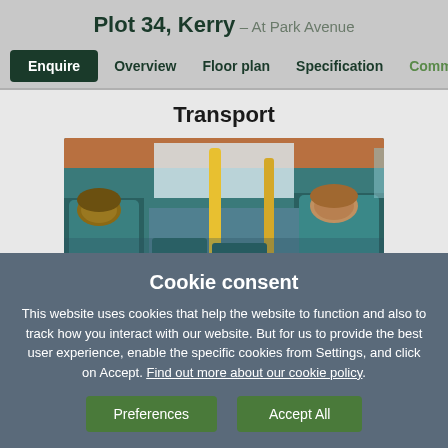Plot 34, Kerry – At Park Avenue
Enquire  Overview  Floor plan  Specification  Commu...
Transport
[Figure (photo): Interior of a bus showing passengers seated in teal/blue seats with yellow poles and handrails, viewed from behind]
Cookie consent
This website uses cookies that help the website to function and also to track how you interact with our website. But for us to provide the best user experience, enable the specific cookies from Settings, and click on Accept. Find out more about our cookie policy.
Preferences  Accept All